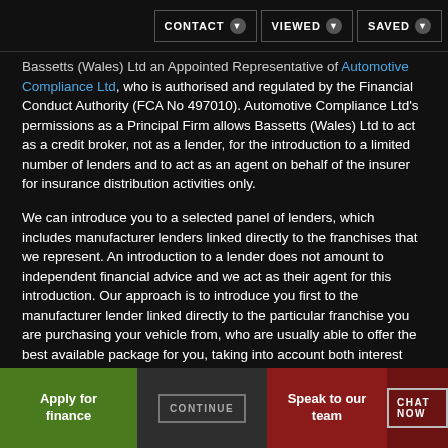CONTACT | VIEWED | SAVED
Bassetts (Wales) Ltd an Appointed Representative of Automotive Compliance Ltd, who is authorised and regulated by the Financial Conduct Authority (FCA No 497010). Automotive Compliance Ltd's permissions as a Principal Firm allows Bassetts (Wales) Ltd to act as a credit broker, not as a lender, for the introduction to a limited number of lenders and to act as an agent on behalf of the insurer for insurance distribution activities only.
We can introduce you to a selected panel of lenders, which includes manufacturer lenders linked directly to the franchises that we represent. An introduction to a lender does not amount to independent financial advice and we act as their agent for this introduction. Our approach is to introduce you first to the manufacturer lender linked directly to the particular franchise you are purchasing your vehicle from, who are usually able to offer the best available package for you, taking into account both interest rates and
Apply for finance | CONTINUE | Speak to our team | CHAT NOW